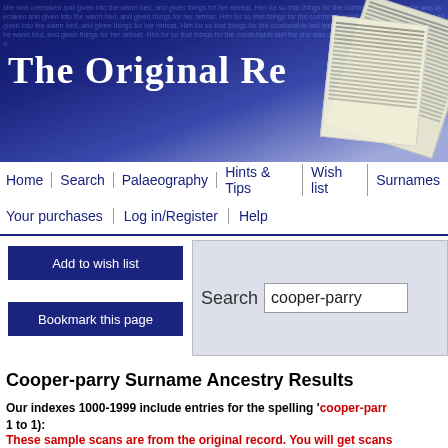The Original Re
Home | Search | Palaeography | Hints & Tips | Wish list | Surnames
Your purchases | Log in/Register | Help
Add to wish list
Bookmark this page
Search cooper-parry
Cooper-parry Surname Ancestry Results
Our indexes 1000-1999 include entries for the spelling 'cooper-parry' (showing 1 to 1):
Try these...
coopeer coopef coopels cooperman cooper cooper key cooper-bland cooper-poland cooper-scott cooper-southam cooper-tenamore cooper-thorn coopernith cooperparton cooperr coopers coopersall coopershackel coopers
These sample scans are from the original record. You will get scans found.